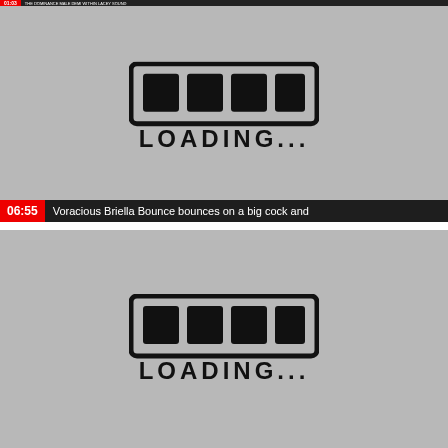[Figure (screenshot): Top video thumbnail bar with red time badge and dark title bar showing truncated text]
[Figure (screenshot): Video thumbnail showing a hand-drawn loading bar graphic with 'LOADING...' text on gray background, with red 06:55 time badge and title 'Voracious Briella Bounce bounces on a big cock and']
[Figure (screenshot): Second video thumbnail showing same hand-drawn loading bar graphic with 'LOADING...' text on gray background, partially cut off]